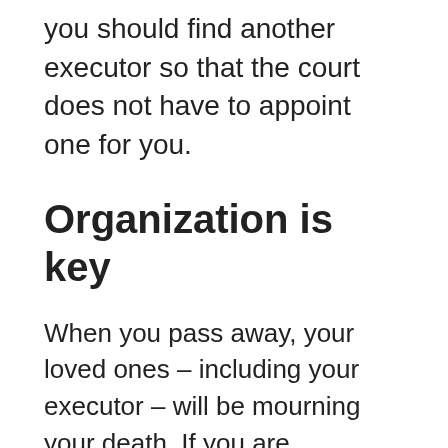you should find another executor so that the court does not have to appoint one for you.
Organization is key
When you pass away, your loved ones – including your executor – will be mourning your death. If you are organized, you can make it easier for them to gather your possessions, pay your debts and taxes, and distribute your assets according to the terms of your will.
Make a clear list of all of your assets. Don't forget to include intangible assets, such as investments, stocks, retirement accounts and